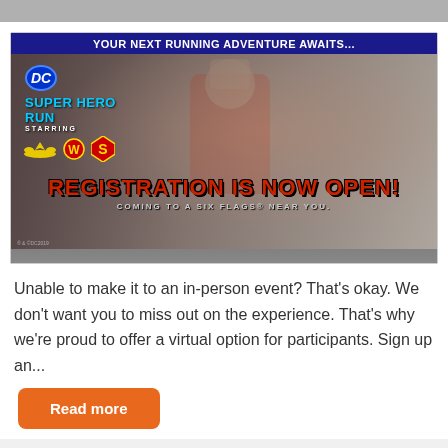[Figure (photo): DC Super Hero Run advertisement showing runners in superhero costumes, with 'YOUR NEXT RUNNING ADVENTURE AWAITS...' at top, DC Super Hero Run logo, Batman, Wonder Woman, Superman logos, 'REGISTRATION IS NOW OPEN!' in large red text, and 'COMING TO A SIX FLAGS® NEAR YOU.' tagline.]
Unable to make it to an in-person event? That's okay. We don't want you to miss out on the experience. That's why we're proud to offer a virtual option for participants. Sign up an...
Read more